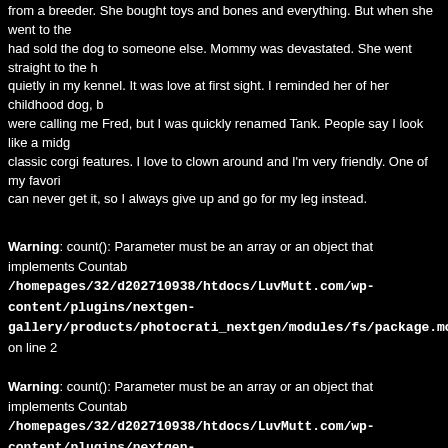from a breeder. She bought toys and bones and everything. But when she went to the had sold the dog to someone else. Mommy was devastated. She went straight to the h quietly in my kennel. It was love at first sight. I reminded her of her childhood dog, b were calling me Fred, but I was quickly renamed Tank. People say I look like a midg classic corgi features. I love to clown around and I'm very friendly. One of my favori can never get it, so I always give up and go for my leg instead.
Warning: count(): Parameter must be an array or an object that implements Countable in /homepages/32/d202710938/htdocs/LuvMutt.com/wp-content/plugins/nextgen-gallery/products/photocrati_nextgen/modules/fs/package.module.fs.php on line 2
Warning: count(): Parameter must be an array or an object that implements Countable in /homepages/32/d202710938/htdocs/LuvMutt.com/wp-content/plugins/nextgen-gallery/products/photocrati_nextgen/modules/fs/package.module.fs.php on line 2
Warning: count(): Parameter must be an array or an object that implements Countable in /homepages/32/d202710938/htdocs/LuvMutt.com/wp-content/plugins/nextgen-gallery/products/photocrati_nextgen/modules/fs/package.module.fs.php on line 2
Warning: count(): Parameter must be an array or an object that implements Countable in /homepages/32/d202710938/htdocs/LuvMutt.com/wp-content/plugins/nextgen-gallery/products/photocrati_nextgen/modules/fs/package.module.fs.php on line 2
Warning: count(): Parameter must be an array or an object that implements Countable